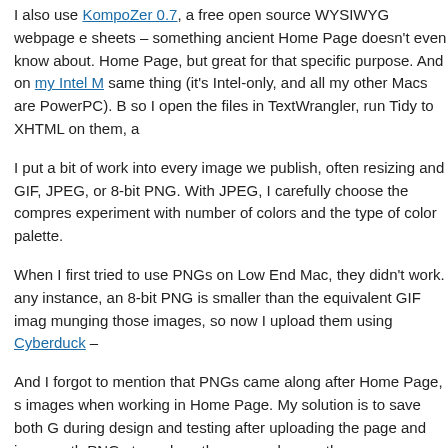I also use KompoZer 0.7, a free open source WYSIWYG webpage e sheets – something ancient Home Page doesn't even know about. Home Page, but great for that specific purpose. And on my Intel M same thing (it's Intel-only, and all my other Macs are PowerPC). B so I open the files in TextWrangler, run Tidy to XHTML on them, a
I put a bit of work into every image we publish, often resizing and GIF, JPEG, or 8-bit PNG. With JPEG, I carefully choose the compres experiment with number of colors and the type of color palette.
When I first tried to use PNGs on Low End Mac, they didn't work. any instance, an 8-bit PNG is smaller than the equivalent GIF imag munging those images, so now I upload them using Cyberduck –
And I forgot to mention that PNGs came along after Home Page, s images when working in Home Page. My solution is to save both G during design and testing after uploading the page and images, th PNGs to replace the munged ones, then use TextWrangler to repla to Home Page to upload the modified page(s).
Thanks to the September 2012 issue of Macworld. I di...